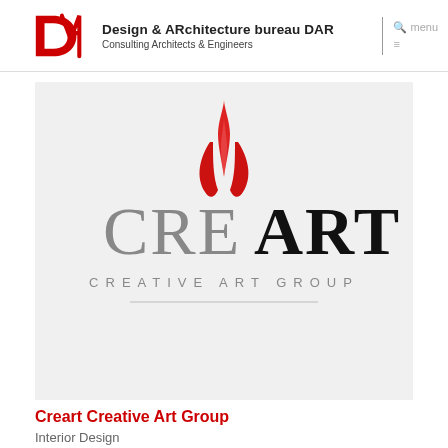Design & ARchitecture bureau DAR | Consulting Architects & Engineers
[Figure (logo): CREART Creative Art Group logo — stylized red flame/tulip above large grey and black lettering 'CREART' with 'CREATIVE ART GROUP' in spaced capital letters below, on a light grey background]
Creart Creative Art Group
Interior Design